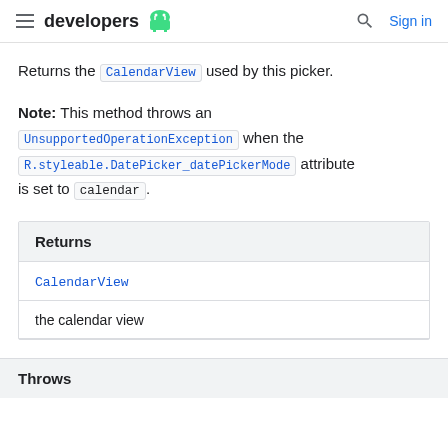developers (Android logo) | Search | Sign in
Returns the CalendarView used by this picker.
Note: This method throws an UnsupportedOperationException when the R.styleable.DatePicker_datePickerMode attribute is set to calendar.
| Returns |
| --- |
| CalendarView |
| the calendar view |
Throws